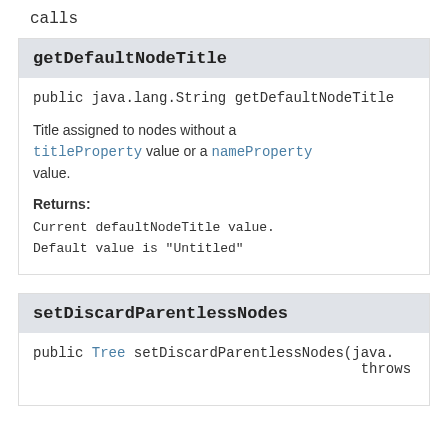calls
getDefaultNodeTitle
public java.lang.String getDefaultNodeTitle
Title assigned to nodes without a titleProperty value or a nameProperty value.
Returns:
Current defaultNodeTitle value. Default value is "Untitled"
setDiscardParentlessNodes
public Tree setDiscardParentlessNodes(java. throws java.